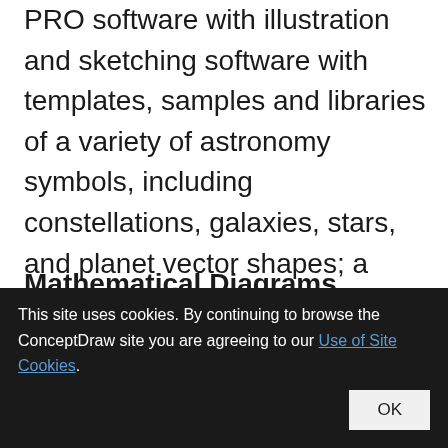PRO software with illustration and sketching software with templates, samples and libraries of a variety of astronomy symbols, including constellations, galaxies, stars, and planet vector shapes; a whole host of cele
Mathematical Diagrams
Algorithm for Solving Quadratic Equations
This site uses cookies. By continuing to browse the ConceptDraw site you are agreeing to our Use of Site Cookies.
OK